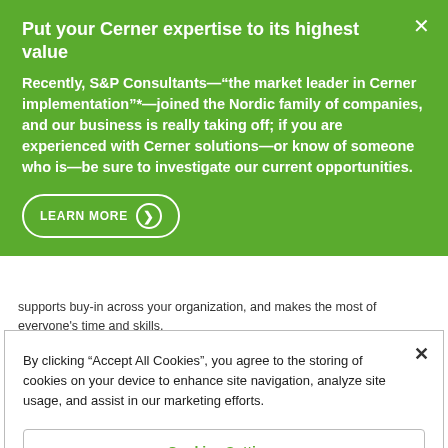Put your Cerner expertise to its highest value
Recently, S&P Consultants—"the market leader in Cerner implementation"*—joined the Nordic family of companies, and our business is really taking off; if you are experienced with Cerner solutions—or know of someone who is—be sure to investigate our current opportunities.
LEARN MORE
supports buy-in across your organization, and makes the most of everyone's time and skills.
By clicking "Accept All Cookies", you agree to the storing of cookies on your device to enhance site navigation, analyze site usage, and assist in our marketing efforts.
Cookies Settings
Reject All